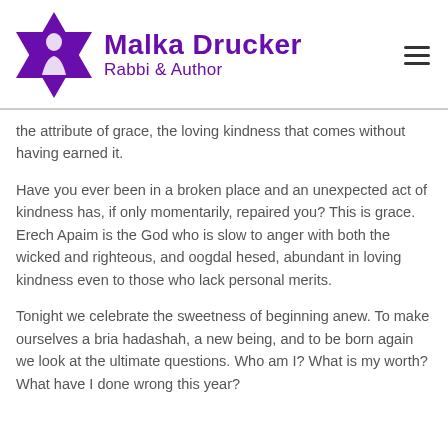[Figure (logo): Malka Drucker Rabbi & Author logo with purple Star of David silhouette and purple text]
the attribute of grace, the loving kindness that comes without having earned it.
Have you ever been in a broken place and an unexpected act of kindness has, if only momentarily, repaired you? This is grace. Erech Apaim is the God who is slow to anger with both the wicked and righteous, and oogdal hesed, abundant in loving kindness even to those who lack personal merits.
Tonight we celebrate the sweetness of beginning anew. To make ourselves a bria hadashah, a new being, and to be born again we look at the ultimate questions. Who am I? What is my worth? What have I done wrong this year?